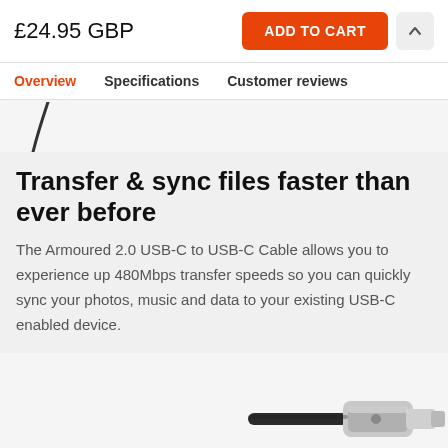£24.95 GBP
ADD TO CART
Overview  Specifications  Customer reviews
[Figure (photo): Partial view of a cable product image, showing a curved black cable on a light grey background]
Transfer & sync files faster than ever before
The Armoured 2.0 USB-C to USB-C Cable allows you to experience up 480Mbps transfer speeds so you can quickly sync your photos, music and data to your existing USB-C enabled device.
[Figure (photo): Partial view of a USB-C connector tip in silver/metallic finish at the bottom right of the page]